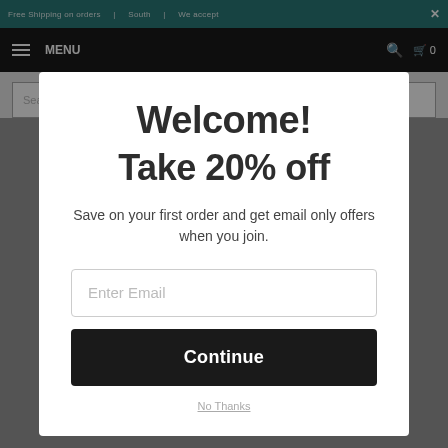Free Shipping on orders ... | South ... | We accept ...
[Figure (screenshot): Website navigation bar with hamburger menu, MENU label, search icon, and cart icon with 0 items]
[Figure (screenshot): Search bar with placeholder text 'Search by product name, or part...']
Welcome!
Take 20% off
Save on your first order and get email only offers when you join.
Enter Email
Continue
No Thanks